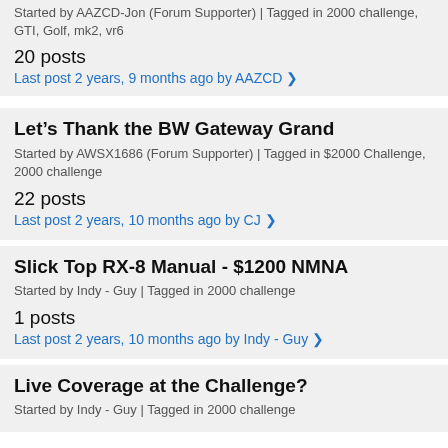Started by AAZCD-Jon (Forum Supporter) | Tagged in 2000 challenge, GTI, Golf, mk2, vr6
20 posts
Last post 2 years, 9 months ago by AAZCD ❯
Let's Thank the BW Gateway Grand
Started by AWSX1686 (Forum Supporter) | Tagged in $2000 Challenge, 2000 challenge
22 posts
Last post 2 years, 10 months ago by CJ ❯
Slick Top RX-8 Manual - $1200 NMNA
Started by Indy - Guy | Tagged in 2000 challenge
1 posts
Last post 2 years, 10 months ago by Indy - Guy ❯
Live Coverage at the Challenge?
Started by Indy - Guy | Tagged in 2000 challenge